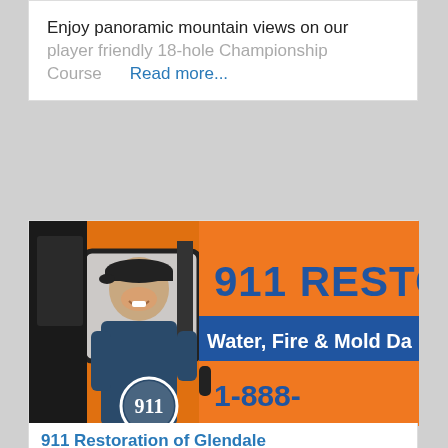Enjoy panoramic mountain views on our player friendly 18-hole Championship Course    Read more...
[Figure (photo): Orange 911 Restoration van with a smiling man in a blue shirt and cap sitting in the driver's seat. The van displays '911 RESTOR', 'Water, Fire & Mold Da', and '1-888-' along with the 911 logo circle.]
911 Restoration of Glendale
★★★★★  (5 stars) with link icon and heart icon
Website